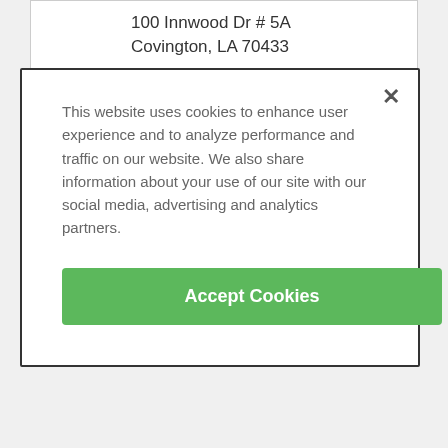100 Innwood Dr # 5A
Covington, LA 70433
[Figure (screenshot): Cookie consent modal dialog overlay on a medical/health website. Contains text about cookie usage, and a green 'Accept Cookies' button. A close (×) button is in the top-right corner.]
This website uses cookies to enhance user experience and to analyze performance and traffic on our website. We also share information about your use of our site with our social media, advertising and analytics partners.
Accept Cookies
[Figure (logo): Health system logo with heart/checkmark icon and text 'HEALTH SYSTEM']
ADVERTISEMENT
Powered By healthgrades.
You Might Also Like